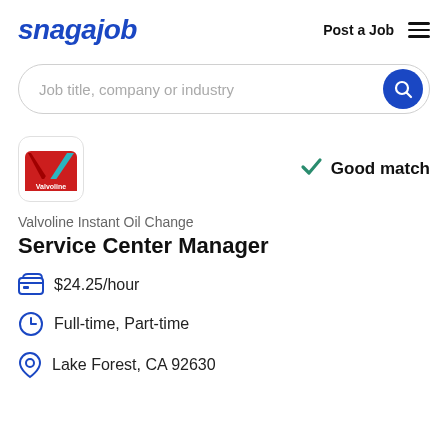snagajob | Post a Job
Job title, company or industry
[Figure (logo): Valvoline Instant Oil Change logo — red rectangle with V shape in red and teal/green]
Good match
Valvoline Instant Oil Change
Service Center Manager
$24.25/hour
Full-time, Part-time
Lake Forest, CA 92630